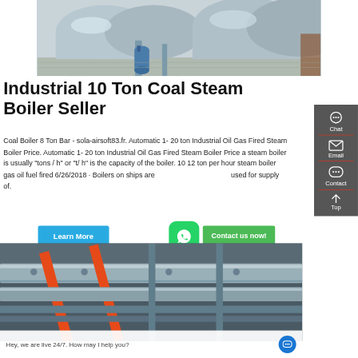[Figure (photo): Industrial steam boilers in a factory — large horizontal cylindrical silver boilers with pipes and equipment]
Industrial 10 Ton Coal Steam Boiler Seller
Coal Boiler 8 Ton Bar - sola-airsoft83.fr. Automatic 1- 20 ton Industrial Oil Gas Fired Steam Boiler Price. Automatic 1- 20 ton Industrial Oil Gas Fired Steam Boiler Price a steam boiler is usually "tons / h" or "t/ h" is the capacity of the boiler. 10 12 ton per hour steam boiler gas oil fuel fired 6/26/2018 · Boilers on ships are used for supply of.
[Figure (screenshot): Sidebar with Chat, Email, Contact, Top buttons on dark grey background]
[Figure (photo): Industrial pipes — orange and silver pipes running along a ceiling in a plant]
Hey, we are live 24/7. How may I help you?